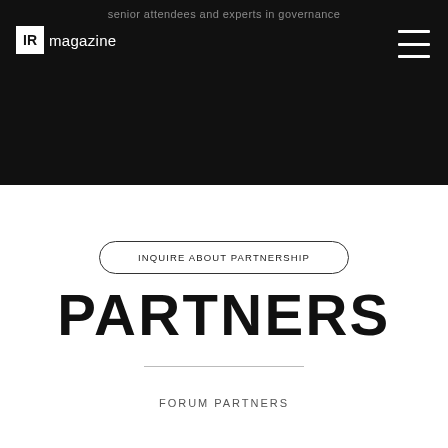senior attendees and experts in governance
[Figure (logo): IR magazine logo — white square with 'IR' text and 'magazine' wordmark on dark background]
INQUIRE ABOUT PARTNERSHIP
PARTNERS
FORUM PARTNERS